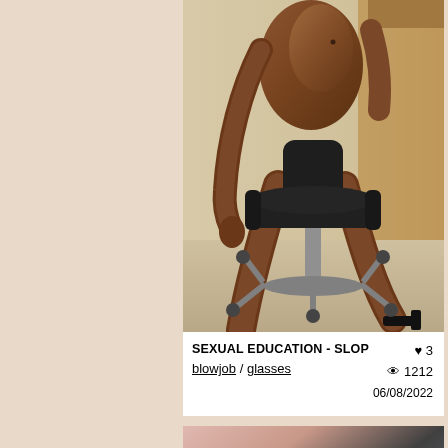[Figure (illustration): 3D rendered illustration showing a dark-skinned figure seated on an office chair, cropped at torso level, with legs extended. Office environment background.]
SEXUAL EDUCATION - SLOP
blowjob / glasses
♥ 3
👁 1212
06/08/2022
[Figure (illustration): 3D rendered anime-style illustration with text overlay reading AYAKA'S DIARY 2. Shows a young woman with dark hair surrounded by other figures.]